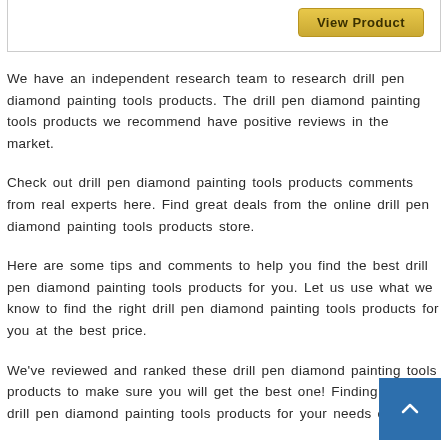[Figure (other): View Product button (gold/yellow gradient button) at top right of a bordered box]
We have an independent research team to research drill pen diamond painting tools products. The drill pen diamond painting tools products we recommend have positive reviews in the market.
Check out drill pen diamond painting tools products comments from real experts here. Find great deals from the online drill pen diamond painting tools products store.
Here are some tips and comments to help you find the best drill pen diamond painting tools products for you. Let us use what we know to find the right drill pen diamond painting tools products for you at the best price.
We've reviewed and ranked these drill pen diamond painting tools products to make sure you will get the best one! Finding the best drill pen diamond painting tools products for your needs can be